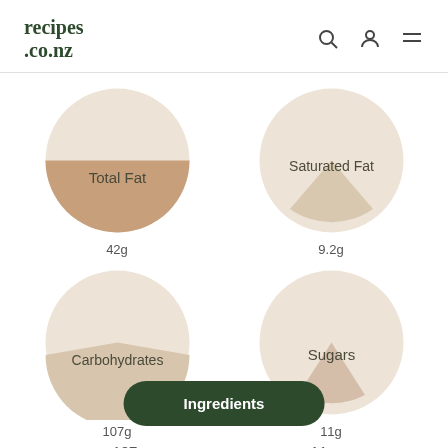recipes.co.nz
[Figure (donut-chart): Pie chart showing Total Fat 42g - about 55% filled brownish segment]
[Figure (donut-chart): Pie chart showing Saturated Fat 9.2g - small filled segment]
[Figure (donut-chart): Pie chart showing Carbohydrates 107g - lower half filled segment]
[Figure (donut-chart): Pie chart showing Sugars 11g - small filled segment]
Ingredients